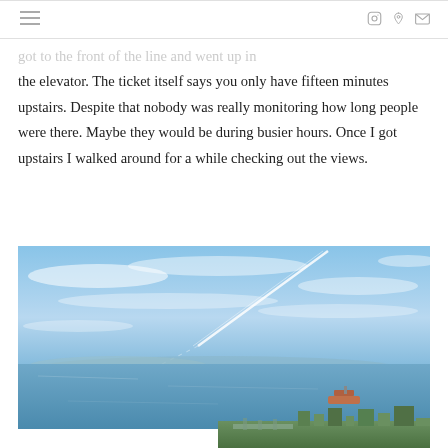navigation icons: hamburger menu, instagram, pinterest, email
got to the front of the line and went up in the elevator. The ticket itself says you only have fifteen minutes upstairs. Despite that nobody was really monitoring how long people were there. Maybe they would be during busier hours. Once I got upstairs I walked around for a while checking out the views.
[Figure (photo): Aerial view from a tall building looking out over a bay with blue sky, wispy clouds, a jet contrail, water with a ship, and city buildings/docks visible in the lower right corner.]